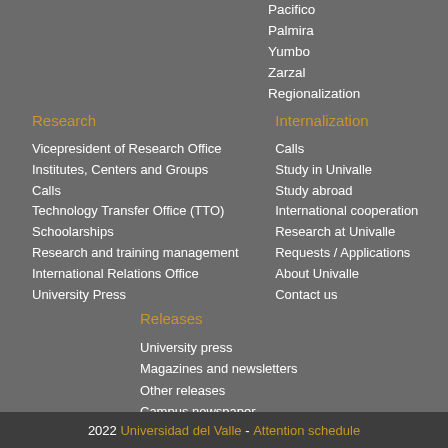Pacifico
Palmira
Yumbo
Zarzal
Regionalization
Research
Internalization
Vicepresident of Research Office
Institutes, Centers and Groups
Calls
Technology Transfer Office (TTO)
Schoolarships
Research and training management
International Relations Office
University Press
Calls
Study in Univalle
Study abroad
International cooperation
Research at Univalle
Requests / Applications
About Univalle
Contact us
Releases
University press
Magazines and newsletters
Other releases
Campus newspaper
2022 Universidad del Valle - Attention schedule